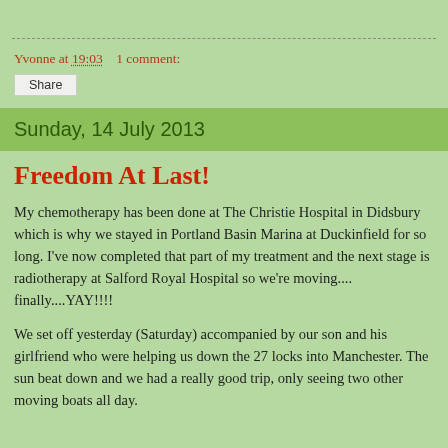Yvonne at 19:03    1 comment:
Share
Sunday, 14 July 2013
Freedom At Last!
My chemotherapy has been done at The Christie Hospital in Didsbury which is why we stayed in Portland Basin Marina at Duckinfield for so long. I've now completed that part of my treatment and the next stage is radiotherapy at Salford Royal Hospital so we're moving.... finally....YAY!!!!
We set off yesterday (Saturday) accompanied by our son and his girlfriend who were helping us down the 27 locks into Manchester. The sun beat down and we had a really good trip, only seeing two other moving boats all day.